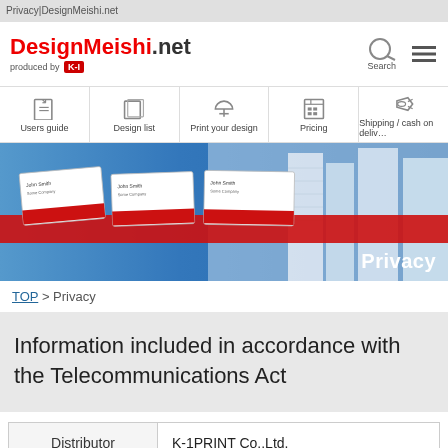Privacy|DesignMeishi.net
[Figure (logo): DesignMeishi.net logo with 'produced by K-I' tagline, search icon, and hamburger menu icon]
[Figure (infographic): Navigation menu with icons: Users guide, Design list, Print your design, Pricing, Shipping / cash on delivery]
[Figure (photo): Hero banner showing business cards fanned out against a city skyline background with a red stripe, 'Privacy' label in bottom right]
TOP > Privacy
Information included in accordance with the Telecommunications Act
|  |  |
| --- | --- |
| Distributor | K-1PRINT Co.,Ltd. |
| General | Masahiro Maruyama |